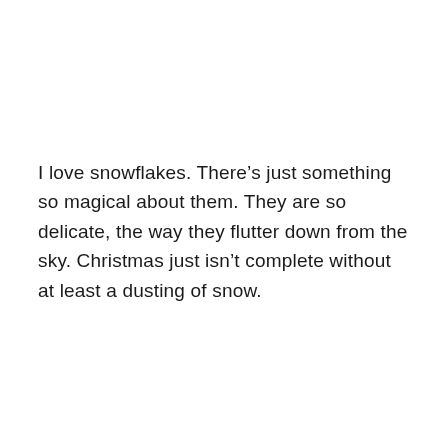I love snowflakes. There’s just something so magical about them. They are so delicate, the way they flutter down from the sky. Christmas just isn’t complete without at least a dusting of snow.